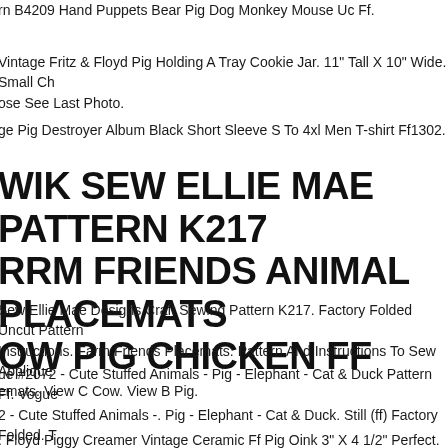rn B4209 Hand Puppets Bear Pig Dog Monkey Mouse Uc Ff.
Vintage Fritz & Floyd Pig Holding A Tray Cookie Jar. 11" Tall X 10" Wide. Small Ch ose See Last Photo.
ge Pig Destroyer Album Black Short Sleeve S To 4xl Men T-shirt Ff1302.
WIK SEW ELLIE MAE PATTERN K217 RRM FRIENDS ANIMAL PLACEMATS OW PIG CHICKEN FF
Sew Ellie Mae Designs Craft Sewing Pattern K217. Factory Folded Uncut Pattern Instructions. Farm Friends Placemats. Pattern And Instructions To Sew Applique emats. View C Cow. View B Pig.
ue #2072 - Cute Stuffed Animals - Pig - Elephant - Cat & Duck Pattern Ff. Vogue 2 - Cute Stuffed Animals -. Pig - Elephant - Cat & Duck. Still (ff) Factory Folded. T rn And 5,000 Other Patterns. Is Every Type Of Pattern Imaginable From This. Abo Sewing Pattern .
Floyd Piggy Creamer Vintage Ceramic Ff Pig Oink 3" X 4 1/2" Perfect.